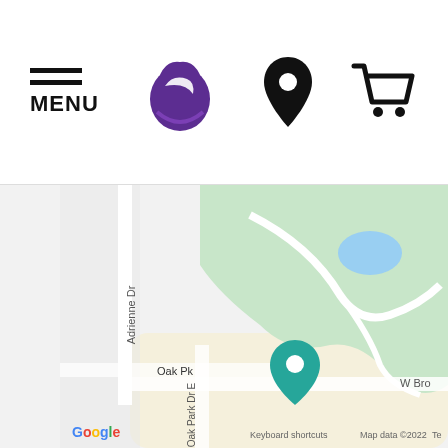[Figure (screenshot): Taco Bell website header with hamburger menu icon labeled MENU on the left, Taco Bell logo (purple bell icon) in the center, a location pin icon, and a shopping cart icon on the right]
[Figure (map): Google Maps screenshot showing a street map with Adrienne Dr and Oak Park Dr E streets, a green park area, and a teal location pin marker near W Broadway. Google logo and 'Keyboard shortcuts Map data ©2022' text visible at bottom.]